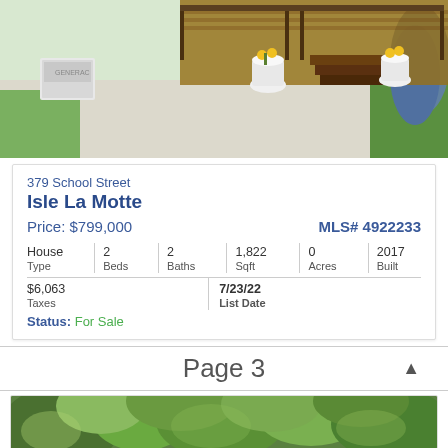[Figure (photo): Exterior photo of house showing a wooden deck with stairs, two white planters with flowers, a white generator on the left, and gravel driveway. Blue spruce tree visible on right.]
379 School Street
Isle La Motte
Price: $799,000   MLS# 4922233
| Type | Beds | Baths | Sqft | Acres | Built |
| --- | --- | --- | --- | --- | --- |
| House | 2 | 2 | 1,822 | 0 | 2017 |
| Taxes | List Date |
| --- | --- |
| $6,063 | 7/23/22 |
Status: For Sale
Page 3
[Figure (photo): Aerial or elevated photo showing a wooded landscape with dense green trees and foliage.]